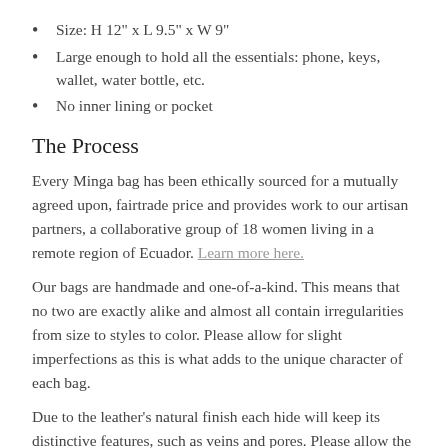Size: H 12" x L 9.5" x W 9"
Large enough to hold all the essentials: phone, keys, wallet, water bottle, etc.
No inner lining or pocket
The Process
Every Minga bag has been ethically sourced for a mutually agreed upon, fairtrade price and provides work to our artisan partners, a collaborative group of 18 women living in a remote region of Ecuador. Learn more here.
Our bags are handmade and one-of-a-kind. This means that no two are exactly alike and almost all contain irregularities from size to styles to color. Please allow for slight imperfections as this is what adds to the unique character of each bag.
Due to the leather's natural finish each hide will keep its distinctive features, such as veins and pores. Please allow the leather time to naturally wear and soften over time.